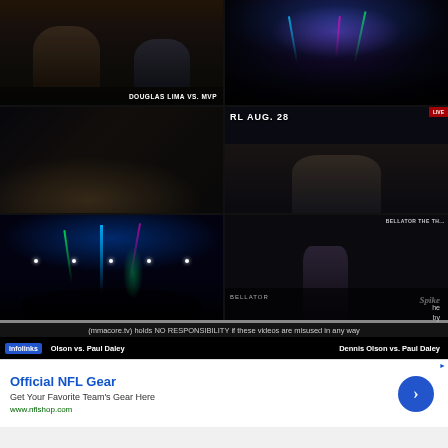[Figure (screenshot): MMA fight video thumbnails grid with 6 screenshots in 2 columns x 3 rows. Top-left: fighter grappling with text 'DOUGLAS LIMA VS. MVP'. Top-right: arena with colorful laser lights. Middle-left: close-up of MMA octagon mat. Middle-right: 'RL AUG. 28' text overlay with fighter close-up. Bottom-left: arena wide shot with blue/green laser lights. Bottom-right: fighter standing in arena with 'Spike' branding visible.]
(mmacore.tv) holds NO RESPONSIBILITY if these videos are misused in any way
Dennis Olson vs. Paul Daley   Dennis Olson vs. Paul Daley
[Figure (screenshot): Advertisement banner: Official NFL Gear - Get Your Favorite Team's Gear Here - www.nflshop.com with blue circular arrow button]